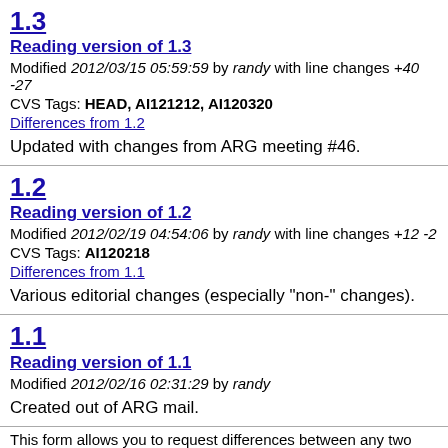1.3
Reading version of 1.3
Modified 2012/03/15 05:59:59 by randy with line changes +40 -27
CVS Tags: HEAD, AI121212, AI120320
Differences from 1.2
Updated with changes from ARG meeting #46.
1.2
Reading version of 1.2
Modified 2012/02/19 04:54:06 by randy with line changes +12 -2
CVS Tags: AI120218
Differences from 1.1
Various editorial changes (especially "non-" changes).
1.1
Reading version of 1.1
Modified 2012/02/16 02:31:29 by randy
Created out of ARG mail.
This form allows you to request differences between any two...